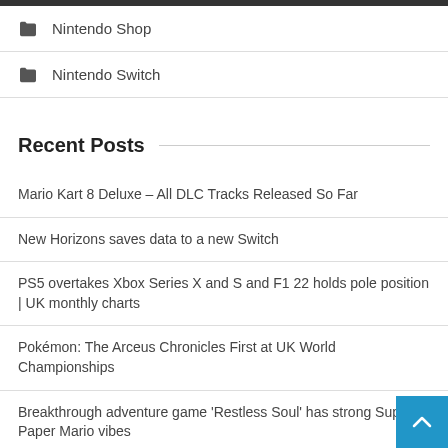Nintendo Shop
Nintendo Switch
Recent Posts
Mario Kart 8 Deluxe – All DLC Tracks Released So Far
New Horizons saves data to a new Switch
PS5 overtakes Xbox Series X and S and F1 22 holds pole position | UK monthly charts
Pokémon: The Arceus Chronicles First at UK World Championships
Breakthrough adventure game 'Restless Soul' has strong Super Paper Mario vibes